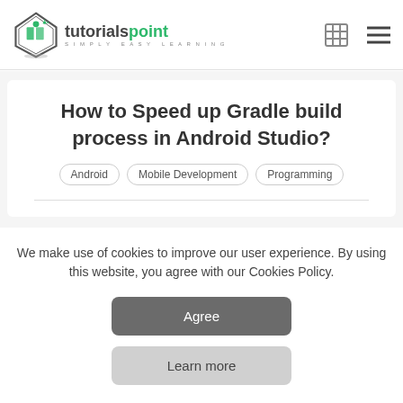tutorialspoint — SIMPLY EASY LEARNING
How to Speed up Gradle build process in Android Studio?
Android
Mobile Development
Programming
We make use of cookies to improve our user experience. By using this website, you agree with our Cookies Policy.
Agree
Learn more